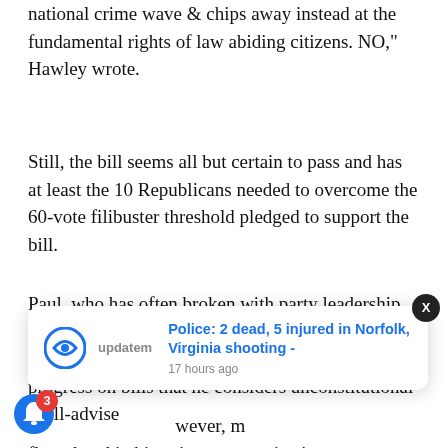national crime wave & chips away instead at the fundamental rights of law abiding citizens. NO," Hawley wrote.
Still, the bill seems all but certain to pass and has at least the 10 Republicans needed to overcome the 60-vote filibuster threshold pledged to support the bill.
Paul, who has often broken with party leadership over civil liberties and constitutional rights issues, has in the past made similar efforts to slow or stall progress on bills that he considers unconstitutional or ill-advise
[Figure (screenshot): Notification popup from 'updatem' app: 'Police: 2 dead, 5 injured in Norfolk, Virginia shooting - 17 hours ago']
wever, m floundered in bipartisan votes rejecting